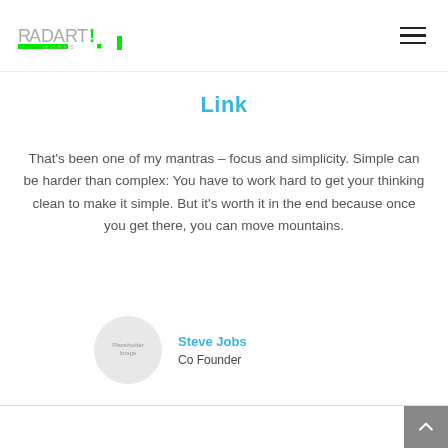[Figure (logo): RadArtWorks logo with green accent bar and text]
Link
That’s been one of my mantras – focus and simplicity. Simple can be harder than complex: You have to work hard to get your thinking clean to make it simple. But it’s worth it in the end because once you get there, you can move mountains.
Steve Jobs
Co Founder